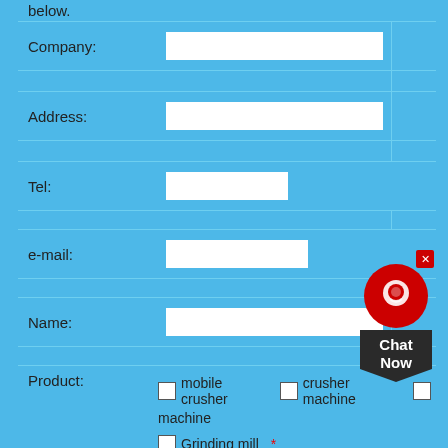below.
| Company: |  |
| Address: |  |
| Tel: |  |
| e-mail: |  |
| Name: |  |
| Product: | ☐ mobile crusher  ☐ crusher machine  ☐ machine  ☐ Grinding mill  * |
| Production capacity: | ◎ 200-300t/h  ◎ 100-200t/h  ◎ 50-100t/h  <30t/h  * |
[Figure (other): Chat Now widget with red circular icon and dark badge]